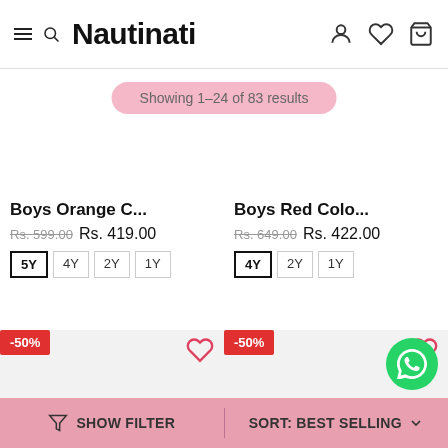Nautinati — navigation header with search, user, wishlist, cart icons
Showing 1–24 of 83 results
Boys Orange C...
Rs. 599.00 Rs. 419.00
5Y  4Y  2Y  1Y
Boys Red Colo...
Rs. 649.00 Rs. 422.00
4Y  2Y  1Y
[Figure (screenshot): Product card lower half with -50% badge and heart wishlist icon]
[Figure (screenshot): Product card lower half with -50% badge and heart wishlist icon]
SHOW FILTER   |   SORT: BEST SELLING